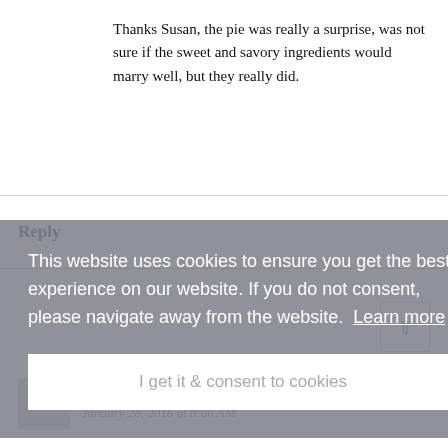Thanks Susan, the pie was really a surprise, was not sure if the sweet and savory ingredients would marry well, but they really did.
Reply
[Figure (screenshot): Cookie consent overlay banner with gray semi-transparent background. Text reads: 'This website uses cookies to ensure you get the best experience on our website. If you do not consent, please navigate away from the website. Learn more'. Below is a white button: 'I get it & consent to cookies'. A close button (x) appears at bottom right.]
eart s
ChenSavory Spoon
January 28, 2016 at 8:06 AM